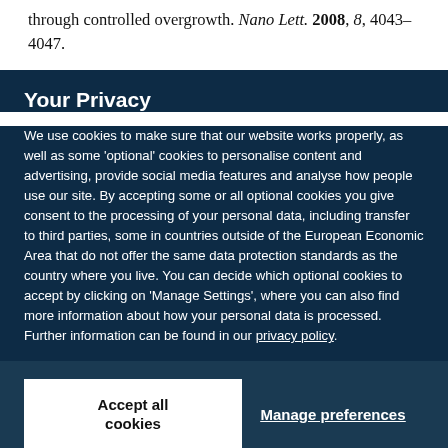through controlled overgrowth. Nano Lett. 2008, 8, 4043–4047.
Your Privacy
We use cookies to make sure that our website works properly, as well as some 'optional' cookies to personalise content and advertising, provide social media features and analyse how people use our site. By accepting some or all optional cookies you give consent to the processing of your personal data, including transfer to third parties, some in countries outside of the European Economic Area that do not offer the same data protection standards as the country where you live. You can decide which optional cookies to accept by clicking on 'Manage Settings', where you can also find more information about how your personal data is processed. Further information can be found in our privacy policy.
Accept all cookies
Manage preferences